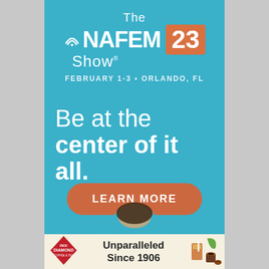[Figure (infographic): The NAFEM Show 23 advertisement banner. Blue background with white logo text reading 'The NAFEM Show' with an orange square containing '23', date 'FEBRUARY 1-3 • ORLANDO, FL', tagline 'Be at the center of it all.', and an orange rounded-rectangle button reading 'LEARN MORE'. At bottom, a Red Diamond coffee/tea banner reading 'Unparalleled Since 1906'.]